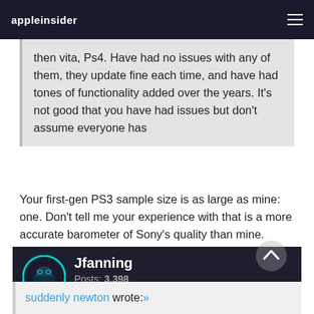appleinsider
then vita, Ps4. Have had no issues with any of them, they update fine each time, and have had tones of functionality added over the years. It's not good that you have had issues but don't assume everyone has
Your first-gen PS3 sample size is as large as mine: one. Don't tell me your experience with that is a more accurate barometer of Sony's quality than mine. Enjoy your unbroken Sony products, but don't piss on people who weren't as lucky as you.
Jfanning
Posts: 3,398
June 11, 2014 4:46AM
suddenly newton wrote: »